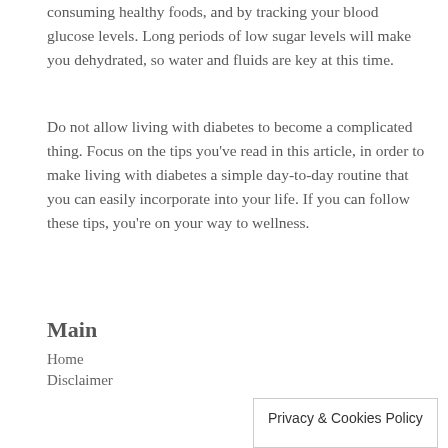consuming healthy foods, and by tracking your blood glucose levels. Long periods of low sugar levels will make you dehydrated, so water and fluids are key at this time.
Do not allow living with diabetes to become a complicated thing. Focus on the tips you've read in this article, in order to make living with diabetes a simple day-to-day routine that you can easily incorporate into your life. If you can follow these tips, you're on your way to wellness.
Main
Home
Disclaimer
Privacy & Cookies Policy